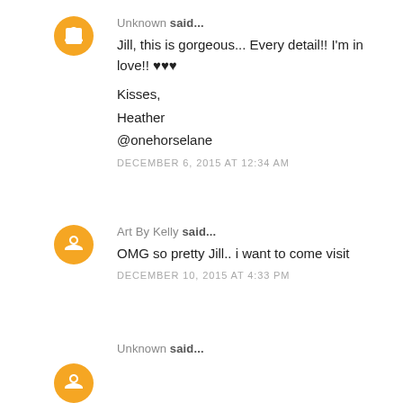Unknown said...
Jill, this is gorgeous... Every detail!! I'm in love!! ♥♥♥
Kisses,
Heather
@onehorselane
DECEMBER 6, 2015 AT 12:34 AM
Art By Kelly said...
OMG so pretty Jill.. i want to come visit
DECEMBER 10, 2015 AT 4:33 PM
Unknown said...